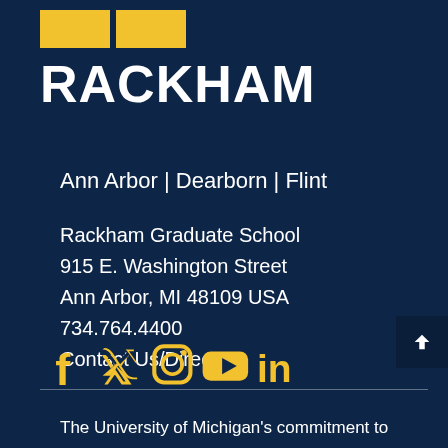[Figure (logo): Rackham Graduate School / University of Michigan logo with yellow blocks and RACKHAM text]
Ann Arbor | Dearborn | Flint
Rackham Graduate School
915 E. Washington Street
Ann Arbor, MI 48109 USA
734.764.4400
Contact Us/Directory
[Figure (illustration): Social media icons: Facebook, Twitter, Instagram, YouTube, LinkedIn in yellow]
The University of Michigan's commitment to